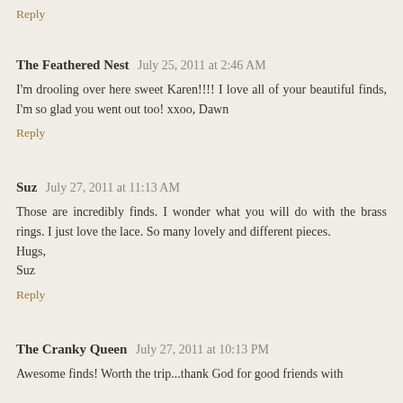Reply
The Feathered Nest  July 25, 2011 at 2:46 AM
I'm drooling over here sweet Karen!!!! I love all of your beautiful finds, I'm so glad you went out too! xxoo, Dawn
Reply
Suz  July 27, 2011 at 11:13 AM
Those are incredibly finds. I wonder what you will do with the brass rings. I just love the lace. So many lovely and different pieces.
Hugs,
Suz
Reply
The Cranky Queen  July 27, 2011 at 10:13 PM
Awesome finds! Worth the trip...thank God for good friends with